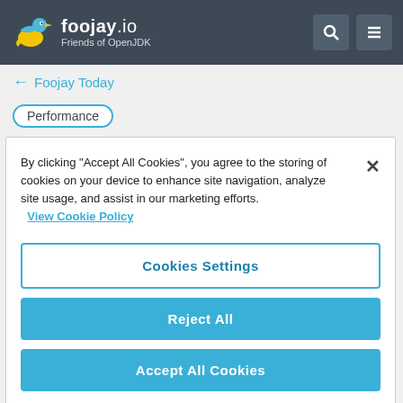foojay.io Friends of OpenJDK
← Foojay Today
Performance
By clicking "Accept All Cookies", you agree to the storing of cookies on your device to enhance site navigation, analyze site usage, and assist in our marketing efforts. View Cookie Policy
Cookies Settings
Reject All
Accept All Cookies